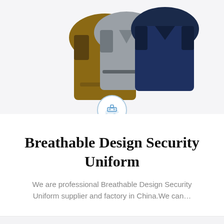[Figure (photo): Product photo showing three work jackets/uniforms in brown, grey, and navy blue colors, displayed overlapping each other. Below the photo is a circular icon with a cruise ship/vessel outline in light blue.]
Breathable Design Security Uniform
We are professional Breathable Design Security Uniform supplier and factory in China.We can…
[Figure (logo): DEEKON brand logo — a circular camouflage-patterned ring with a red 'D' in the center, and the text 'DEEKON' in red bold letters below.]
[Figure (photo): A blue work jacket/shirt uniform displayed front-facing on a white background.]
[Figure (illustration): Blue circular button with a white anchor icon inside.]